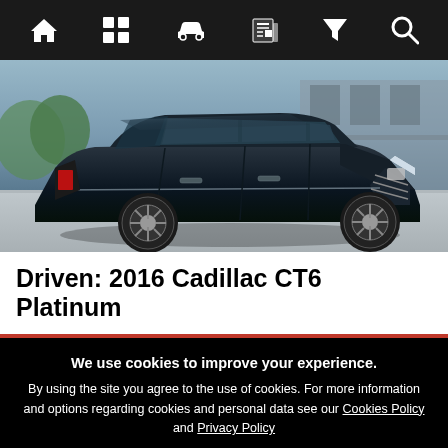Navigation bar with icons: home, grid, car, newspaper, filter, search
[Figure (photo): Dark navy/black Cadillac CT6 Platinum sedan photographed from a three-quarter front angle in a parking area. The car shows chrome grille, large alloy wheels, and sleek profile.]
Driven: 2016 Cadillac CT6 Platinum
We use cookies to improve your experience. By using the site you agree to the use of cookies. For more information and options regarding cookies and personal data see our Cookies Policy and Privacy Policy
Accept cookies & close
California residents: Do Not Sell My Info